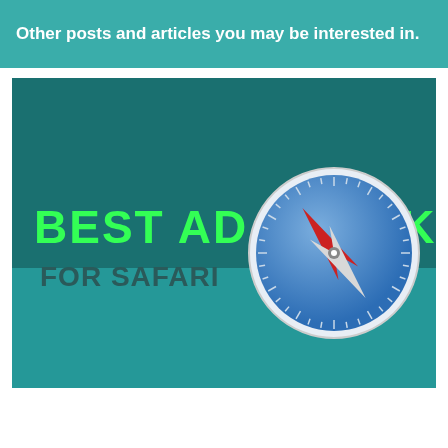Other posts and articles you may be interested in.
[Figure (illustration): Promotional banner for 'Best Ad Block for Safari' showing bold green text 'BEST AD BLOCK' and smaller dark teal text 'FOR SAFARI' on a dark teal background, with a Safari compass icon on the right side.]